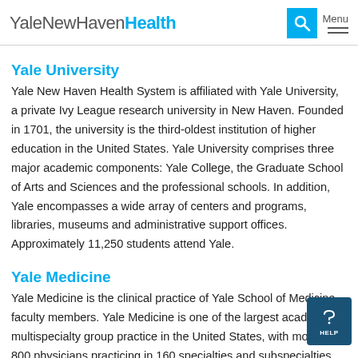YaleNewHavenHealth [logo with search and menu]
Yale University
Yale New Haven Health System is affiliated with Yale University, a private Ivy League research university in New Haven. Founded in 1701, the university is the third-oldest institution of higher education in the United States. Yale University comprises three major academic components: Yale College, the Graduate School of Arts and Sciences and the professional schools. In addition, Yale encompasses a wide array of centers and programs, libraries, museums and administrative support offices. Approximately 11,250 students attend Yale.
Yale Medicine
Yale Medicine is the clinical practice of Yale School of Medicine faculty members. Yale Medicine is one of the largest academic multispecialty group practice in the United States, with more than 800 physicians practicing in 160 specialties and subspecialties. Yale Medicine has a strong commitment to excellence in Care...